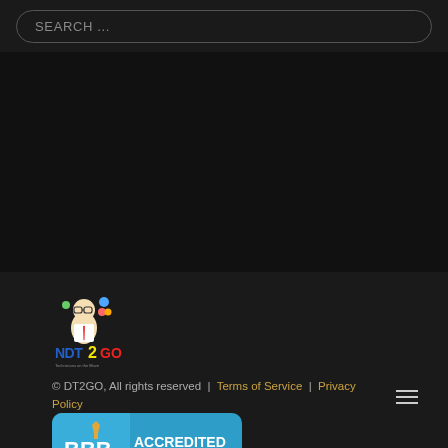SEARCH ...
[Figure (logo): DT2GO logo with cartoon character and colorful text]
© DT2GO, All rights reserved  |  Terms of Service  |  Privacy Policy
[Figure (logo): BBB Accredited Business badge in blue and white with BBB lettering]
BBB Rating: A+